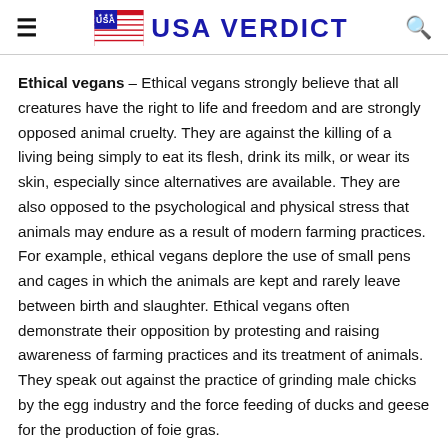USA VERDICT
Ethical vegans – Ethical vegans strongly believe that all creatures have the right to life and freedom and are strongly opposed animal cruelty. They are against the killing of a living being simply to eat its flesh, drink its milk, or wear its skin, especially since alternatives are available. They are also opposed to the psychological and physical stress that animals may endure as a result of modern farming practices. For example, ethical vegans deplore the use of small pens and cages in which the animals are kept and rarely leave between birth and slaughter. Ethical vegans often demonstrate their opposition by protesting and raising awareness of farming practices and its treatment of animals. They speak out against the practice of grinding male chicks by the egg industry and the force feeding of ducks and geese for the production of foie gras.